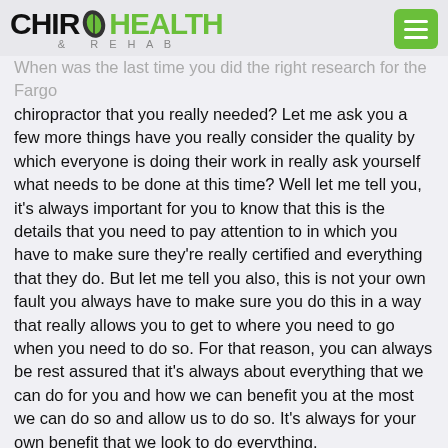[Figure (logo): Chiro Health & Rehab logo with green leaf icon and green hamburger menu button]
When was the last time you did the right research for the Fargo chiropractor that you really needed? Let me ask you a few more things have you really consider the quality by which everyone is doing their work in really ask yourself what needs to be done at this time? Well let me tell you, it's always important for you to know that this is the details that you need to pay attention to in which you have to make sure they're really certified and everything that they do. But let me tell you also, this is not your own fault you always have to make sure you do this in a way that really allows you to get to where you need to go when you need to do so. For that reason, you can always be rest assured that it's always about everything that we can do for you and how we can benefit you at the most we can do so and allow us to do so. It's always for your own benefit that we look to do everything.
So now that you know a little bit more about the way the Fargo chiropractor can really help you here at chiro health and rehab, let me tell you that it's always about making sure that we can benefit you throughout this process tremendously. Because without this process